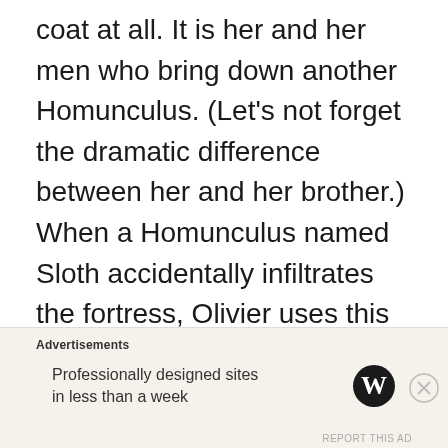coat at all. It is her and her men who bring down another Homunculus. (Let’s not forget the dramatic difference between her and her brother.) When a Homunculus named Sloth accidentally infiltrates the fortress, Olivier uses this opportunity to test the Elrics’ loyalty. Mounting a Briggs Tank, General Armstrong leads the defense against the intruding Homunculus, eventually freezing him solid with the harsh
Advertisements
Professionally designed sites in less than a week